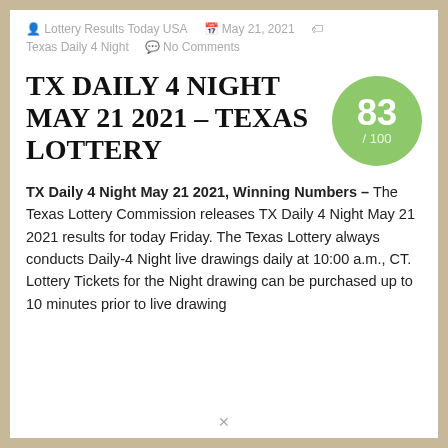Lottery Results Today USA  May 21, 2021  Texas Daily 4 Night  No Comments
TX DAILY 4 NIGHT MAY 21 2021 – TEXAS LOTTERY
[Figure (infographic): Green circle score badge showing 83 / 100]
TX Daily 4 Night May 21 2021, Winning Numbers – The Texas Lottery Commission releases TX Daily 4 Night May 21 2021 results for today Friday. The Texas Lottery always conducts Daily-4 Night live drawings daily at 10:00 a.m., CT. Lottery Tickets for the Night drawing can be purchased up to 10 minutes prior to live drawing